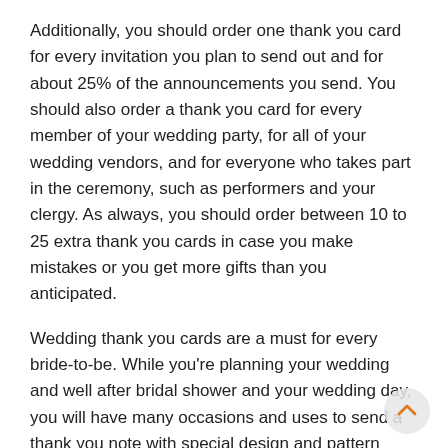Additionally, you should order one thank you card for every invitation you plan to send out and for about 25% of the announcements you send. You should also order a thank you card for every member of your wedding party, for all of your wedding vendors, and for everyone who takes part in the ceremony, such as performers and your clergy. As always, you should order between 10 to 25 extra thank you cards in case you make mistakes or you get more gifts than you anticipated.
Wedding thank you cards are a must for every bride-to-be. While you're planning your wedding and well after bridal shower and your wedding day, you will have many occasions and uses to send a thank you note with special design and pattern from modern, classic, and traditional. Make sure you have a stash of notes on hand so you can always promptly send a quick thank-you. We have a wide variety of charming and unique wedding thank you cards to match with your wedding invitations.